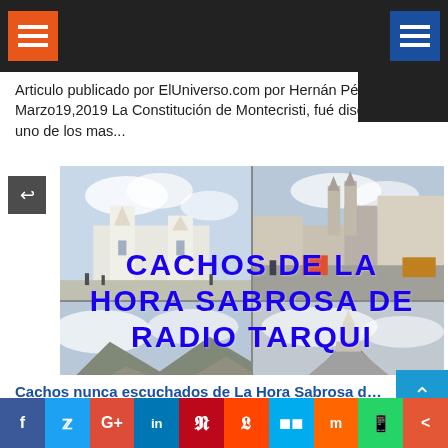Navigation header with orange hamburger menu and blue hamburger menu on dark background
Articulo publicado por ElUniverso.com por Hernán Pérez Lo... Marzo19,2019 La Constitución de Montecristi, fué diseñado por uno de los mas...
[Figure (photo): Four-panel photo collage of Quito Ecuador with overlaid bold blue text reading CACHOS DE LA HORA SABROSA DE RADIO TARQUI]
Cachos nunca escuchados de La Hora Sabrosa de Ra...
Social share bar: f, Twitter, G+, in, Pinterest, Reddit, Digg, Mix, WhatsApp, Share